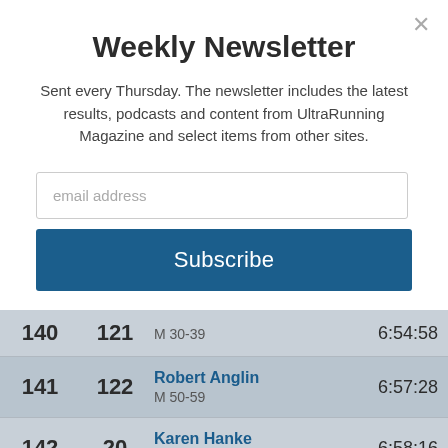Weekly Newsletter
Sent every Thursday. The newsletter includes the latest results, podcasts and content from UltraRunning Magazine and select items from other sites.
[Figure (screenshot): Email address input field with placeholder text 'email address']
[Figure (screenshot): Subscribe button in dark blue]
| Place | Bib | Name / Category | Time |
| --- | --- | --- | --- |
| 140 | 121 | M 30-39 | 6:54:58 |
| 141 | 122 | Robert Anglin
M 50-59 | 6:57:28 |
| 142 | 20 | Karen Hanke
F 30-39 | 6:58:16 |